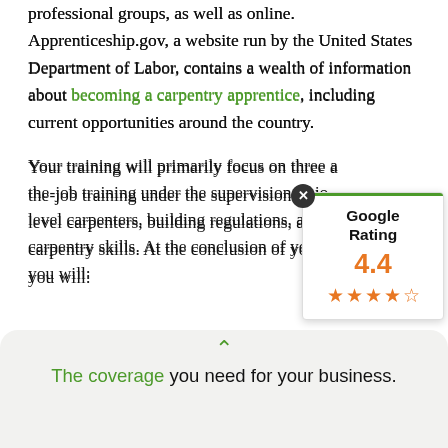professional groups, as well as online. Apprenticeship.gov, a website run by the United States Department of Labor, contains a wealth of information about becoming a carpentry apprentice, including current opportunities around the country.
Your training will primarily focus on three areas: the-job training under the supervision of journeyman-level carpenters, building regulations, and general carpentry skills. At the conclusion of your training, you will:
[Figure (infographic): Google Rating popup showing 4.4 stars out of 5 with orange star icons and a green top bar, with an X close button]
The coverage you need for your business.